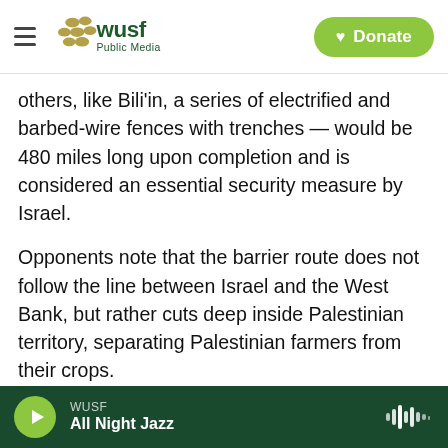WUSF Public Media — Donate
others, like Bili'in, a series of electrified and barbed-wire fences with trenches — would be 480 miles long upon completion and is considered an essential security measure by Israel.
Opponents note that the barrier route does not follow the line between Israel and the West Bank, but rather cuts deep inside Palestinian territory, separating Palestinian farmers from their crops.
"Farming is a primary source of income in the Palestinian communities situated along the barrier's route, an area that constitutes one of the
WUSF — All Night Jazz